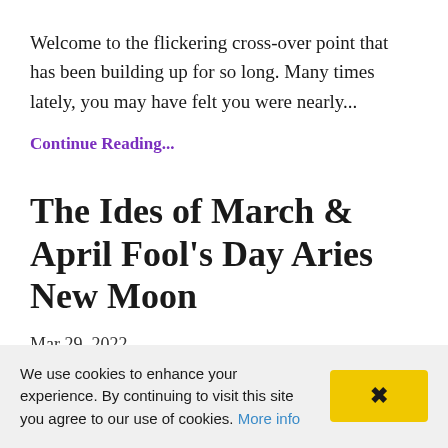Welcome to the flickering cross-over point that has been building up for so long. Many times lately, you may have felt you were nearly...
Continue Reading...
The Ides of March & April Fool's Day Aries New Moon
Mar 29, 2022
[Figure (photo): Partially visible article image with light blue background]
We use cookies to enhance your experience. By continuing to visit this site you agree to our use of cookies. More info